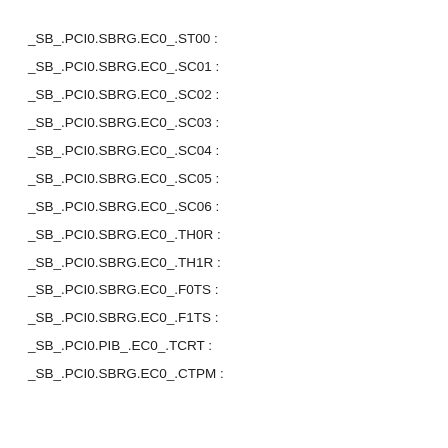_SB_.PCI0.SBRG.EC0_.ST00 :
_SB_.PCI0.SBRG.EC0_.SC01 :
_SB_.PCI0.SBRG.EC0_.SC02 :
_SB_.PCI0.SBRG.EC0_.SC03 :
_SB_.PCI0.SBRG.EC0_.SC04 :
_SB_.PCI0.SBRG.EC0_.SC05 :
_SB_.PCI0.SBRG.EC0_.SC06 :
_SB_.PCI0.SBRG.EC0_.TH0R :
_SB_.PCI0.SBRG.EC0_.TH1R :
_SB_.PCI0.SBRG.EC0_.F0TS :
_SB_.PCI0.SBRG.EC0_.F1TS :
_SB_.PCI0.PIB_.EC0_.TCRT :
_SB_.PCI0.SBRG.EC0_.CTPM :